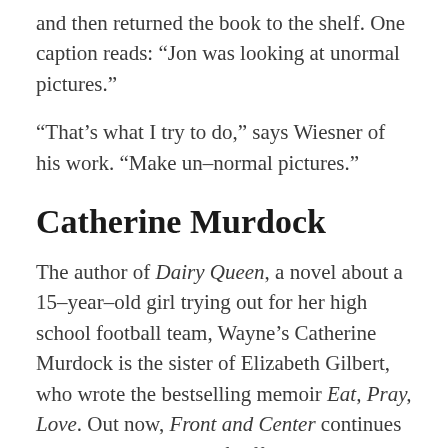and then returned the book to the shelf. One caption reads: “Jon was looking at unormal pictures.”
“That’s what I try to do,” says Wiesner of his work. “Make un–normal pictures.”
Catherine Murdock
The author of Dairy Queen, a novel about a 15–year–old girl trying out for her high school football team, Wayne’s Catherine Murdock is the sister of Elizabeth Gilbert, who wrote the bestselling memoir Eat, Pray, Love. Out now, Front and Center continues where Dairy Queen left off, as